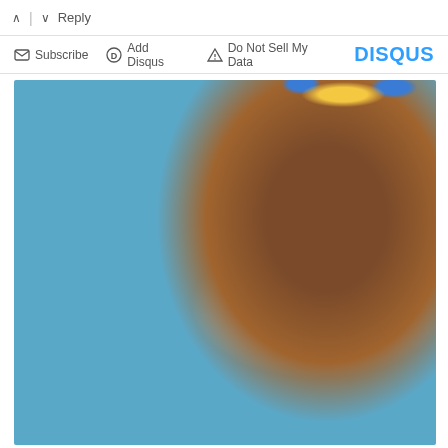^ | v  Reply
Subscribe  Add Disqus  Do Not Sell My Data   DISQUS
[Figure (photo): A child wearing a blue and yellow flower crown headband and a light blue surgical mask, with a green lanyard around their neck and a denim jacket. The background shows blurred classical columns. A blue and yellow flag is partially visible in the lower left.]